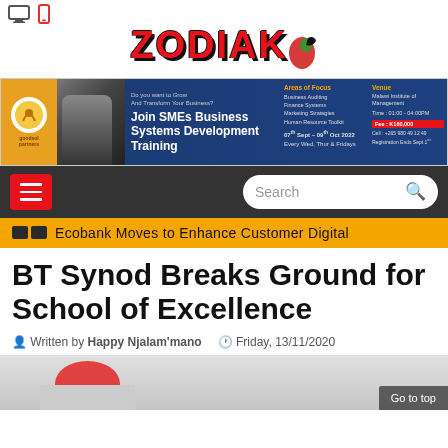Zodiak (logo with device icons)
[Figure (photo): Banner advertisement for SMEs Business Systems Development Training by Goodsol Partners, dated 07th Sept - 09th Oct 2022, at Malawi Institute of Management]
[Figure (screenshot): Navigation bar with hamburger menu (red), search box, and ticker bar showing 'Ecobank Moves to Enhance Customer Digital']
BT Synod Breaks Ground for School of Excellence
Written by Happy Njalam'mano   Friday, 13/11/2020
[Figure (photo): Article image partially visible at bottom of page with red hat/cap shape and 'Go to top' button]